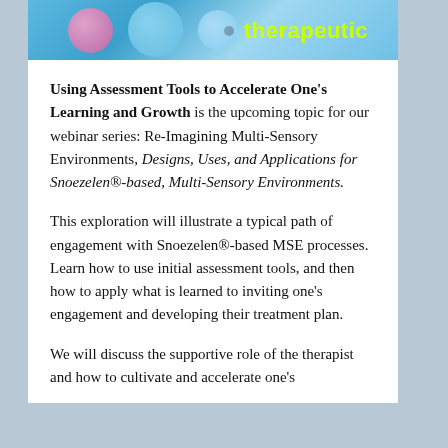[Figure (photo): Colorful bubbles/therapeutic image strip with the word 'therapeutic' in yellow-green text on a blue background]
Using Assessment Tools to Accelerate One's Learning and Growth is the upcoming topic for our webinar series: Re-Imagining Multi-Sensory Environments, Designs, Uses, and Applications for Snoezelen®-based, Multi-Sensory Environments.
This exploration will illustrate a typical path of engagement with Snoezelen®-based MSE processes. Learn how to use initial assessment tools, and then how to apply what is learned to inviting one's engagement and developing their treatment plan.
We will discuss the supportive role of the therapist and how to cultivate and accelerate one's